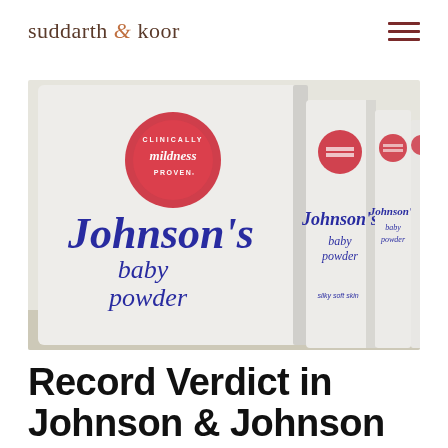suddarth & koor
[Figure (photo): Multiple Johnson's baby powder containers lined up on a shelf, showing the blue script logo and red circular 'Clinically mildness Proven' seal on the front bottle.]
Record Verdict in Johnson & Johnson